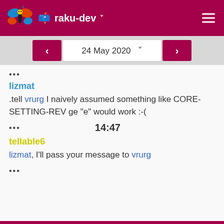raku-dev
24 May 2020
•••
lizmat
.tell vrurg I naively assumed something like CORE-SETTING-REV ge "e" would work :-(
••• 14:47
tellable6
lizmat, I'll pass your message to vrurg
•••